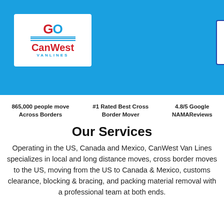[Figure (logo): CanWest Van Lines logo - circular arrow icon with red and blue colors, company name below]
[Figure (other): Hamburger menu icon (three horizontal lines) in blue on white background]
865,000 people move Across Borders
#1 Rated Best Cross Border Mover
4.8/5 Google NAMAReviews
Our Services
Operating in the US, Canada and Mexico, CanWest Van Lines specializes in local and long distance moves, cross border moves to the US, moving from the US to Canada & Mexico, customs clearance, blocking & bracing, and packing material removal with a professional team at both ends.
[Figure (photo): US flag photo - red, white and blue stripes with stars]
Cross Border Moves